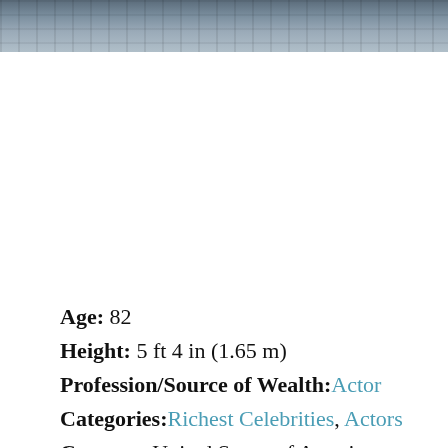[Figure (photo): Partial photo strip at top of page showing a person against a brick wall background, grayscale/muted tones]
Age: 82
Height: 5 ft 4 in (1.65 m)
Profession/Source of Wealth: Actor
Categories: Richest Celebrities, Actors
Country: United States of America